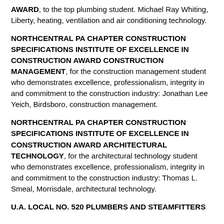AWARD, to the top plumbing student. Michael Ray Whiting, Liberty, heating, ventilation and air conditioning technology.
NORTHCENTRAL PA CHAPTER CONSTRUCTION SPECIFICATIONS INSTITUTE OF EXCELLENCE IN CONSTRUCTION AWARD CONSTRUCTION MANAGEMENT, for the construction management student who demonstrates excellence, professionalism, integrity in and commitment to the construction industry: Jonathan Lee Yeich, Birdsboro, construction management.
NORTHCENTRAL PA CHAPTER CONSTRUCTION SPECIFICATIONS INSTITUTE OF EXCELLENCE IN CONSTRUCTION AWARD ARCHITECTURAL TECHNOLOGY, for the architectural technology student who demonstrates excellence, professionalism, integrity in and commitment to the construction industry: Thomas L. Smeal, Morrisdale, architectural technology.
U.A. LOCAL NO. 520 PLUMBERS AND STEAMFITTERS